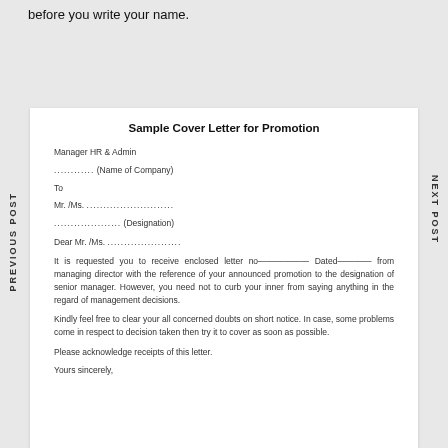before you write your name.
PREVIOUS POST
NEXT POST
Sample Cover Letter for Promotion
Manager HR & Admin
............ (Name of Company)
To
Mr. /Ms. ..........................
.................. (Designation)

Dear Mr. /Ms. ......................

It is requested you to receive enclosed letter no—————— Dated———— from managing director with the reference of your announced promotion to the designation of senior manager. However, you need not to curb your inner from saying anything in the regard of management decisions.

Kindly feel free to clear your all concerned doubts on short notice. In case, some problems come in respect to decision taken then try it to cover as soon as possible.

Please acknowledge receipts of this letter.

Yours sincerely,